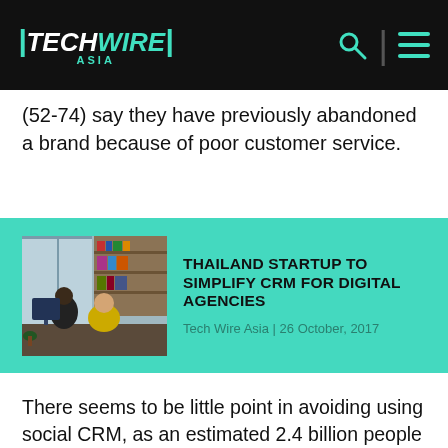TECHWIRE ASIA
(52-74) say they have previously abandoned a brand because of poor customer service.
[Figure (screenshot): TechWire Asia article card with office photo: THAILAND STARTUP TO SIMPLIFY CRM FOR DIGITAL AGENCIES, Tech Wire Asia | 26 October, 2017]
THAILAND STARTUP TO SIMPLIFY CRM FOR DIGITAL AGENCIES
Tech Wire Asia | 26 October, 2017
There seems to be little point in avoiding using social CRM, as an estimated 2.4 billion people use social media, with a projected growth of 3.2 billion by 2021. The APAC region has the world's highest